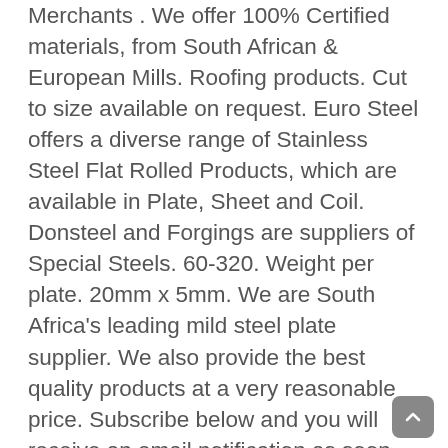Merchants . We offer 100% Certified materials, from South African & European Mills. Roofing products. Cut to size available on request. Euro Steel offers a diverse range of Stainless Steel Flat Rolled Products, which are available in Plate, Sheet and Coil. Donsteel and Forgings are suppliers of Special Steels. 60-320. Weight per plate. 20mm x 5mm. We are South Africa's leading mild steel plate supplier. We also provide the best quality products at a very reasonable price. Subscribe below and you will receive an email notification as soon as we post. BSi Steel Ltd - Plate S355 +27 11 861 7600 info@bsisteel.com Contact Us We supply a full range of steel roof sheeting and services, making us the perfect choice of steel suppliers in South Africa to assist with all your roofing supplies. 2450 x 1225 x 2.9mm. rectangular tube